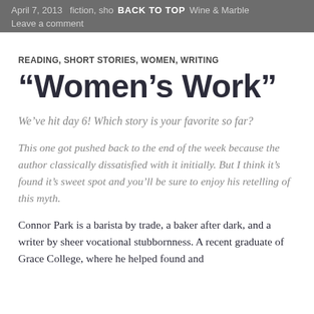April 7, 2013   fiction, sho… BACK TO TOP Wine & Marble
Leave a comment
READING, SHORT STORIES, WOMEN, WRITING
“Women’s Work”
We’ve hit day 6! Which story is your favorite so far?
This one got pushed back to the end of the week because the author classically dissatisfied with it initially. But I think it’s found it’s sweet spot and you’ll be sure to enjoy his retelling of this myth.
Connor Park is a barista by trade, a baker after dark, and a writer by sheer vocational stubbornness. A recent graduate of Grace College, where he helped found and